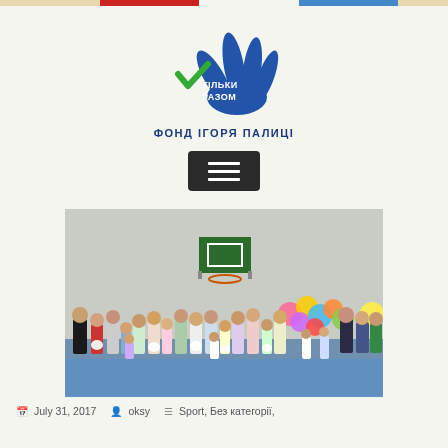[Figure (logo): Logo of 'Тільки разом' (Only Together) foundation — stylized hand with green checkmark and blue fingers, with text ТІЛЬКИ РАЗОМ and ФОНД ІГОРЯ ПАЛИЦІ below]
[Figure (other): Dark hamburger menu button with three horizontal white lines]
[Figure (photo): Group photo of children and adults in a school gymnasium with a basketball hoop on the wall and colorful balloons in the background]
July 31, 2017   oksy   Sport, Без категорії,